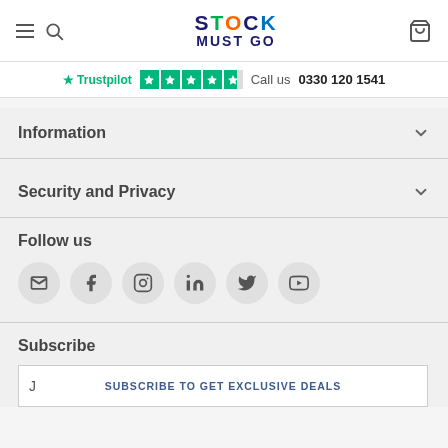STOCK MUST GO
Trustpilot  Call us  0330 120 1541
Information
Security and Privacy
Follow us
[Figure (infographic): Social media icons: email, facebook, instagram, linkedin, twitter, youtube]
Subscribe
SUBSCRIBE TO GET EXCLUSIVE DEALS